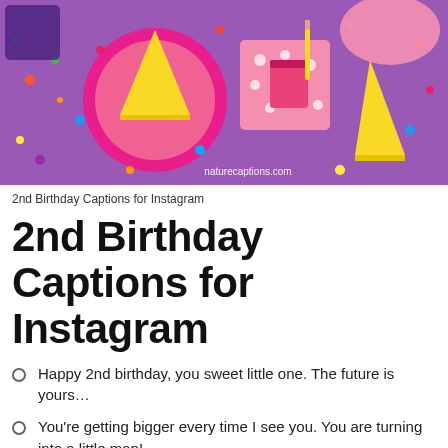[Figure (photo): Flat lay photo of birthday party supplies including pink plates, yellow party hats, polka dot napkins, confetti, and cups on a purple background. Watermark reads 'naturecaptions.com'.]
2nd Birthday Captions for Instagram
2nd Birthday Captions for Instagram
Happy 2nd birthday, you sweet little one. The future is yours…
You're getting bigger every time I see you. You are turning into a little man!
Happy 2nd birthday, sweet boy. May your world be everything you wish for. Big kisses. -Mommy and Daddy
Wishing a marvelous birthday to my favorite 2 year old in the